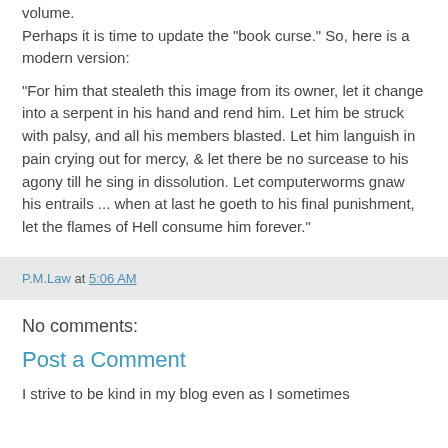volume.
Perhaps it is time to update the "book curse." So, here is a modern version:
"For him that stealeth this image from its owner, let it change into a serpent in his hand and rend him. Let him be struck with palsy, and all his members blasted. Let him languish in pain crying out for mercy, & let there be no surcease to his agony till he sing in dissolution. Let computerworms gnaw his entrails ... when at last he goeth to his final punishment, let the flames of Hell consume him forever."
P.M.Law at 5:06 AM
No comments:
Post a Comment
I strive to be kind in my blog even as I sometimes